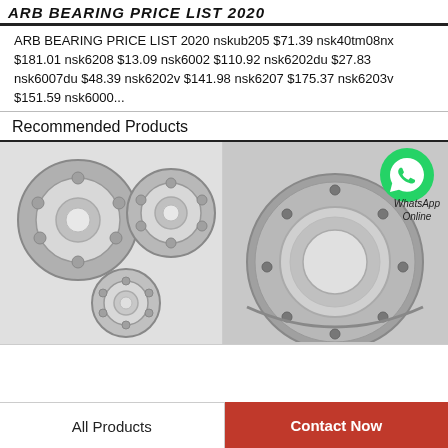ARB BEARING PRICE LIST 2020
ARB BEARING PRICE LIST 2020 nskub205 $71.39 nsk40tm08nx $181.01 nsk6208 $13.09 nsk6002 $110.92 nsk6202du $27.83 nsk6007du $48.39 nsk6202v $141.98 nsk6207 $175.37 nsk6203v $151.59 nsk6000...
Recommended Products
[Figure (photo): Multiple ball bearings of various sizes arranged together on a light background]
[Figure (photo): A large slewing ring bearing / gear ring bearing shown on a light background, with WhatsApp Online contact overlay]
All Products    Contact Now